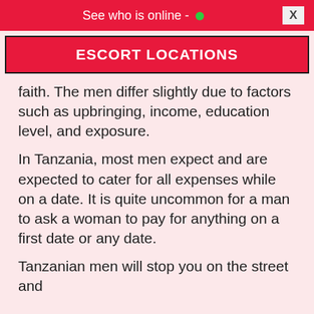See who is online -
ESCORT LOCATIONS
faith. The men differ slightly due to factors such as upbringing, income, education level, and exposure.
In Tanzania, most men expect and are expected to cater for all expenses while on a date. It is quite uncommon for a man to ask a woman to pay for anything on a first date or any date.
Tanzanian men will stop you on the street and